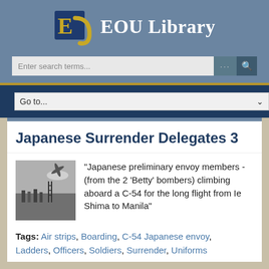EOU Library
Japanese Surrender Delegates 3
[Figure (photo): Black and white historical photograph showing people near aircraft, Japanese surrender delegates boarding a C-54]
"Japanese preliminary envoy members - (from the 2 'Betty' bombers) climbing aboard a C-54 for the long flight from Ie Shima to Manila"
Tags: Air strips, Boarding, C-54 Japanese envoy, Ladders, Officers, Soldiers, Surrender, Uniforms